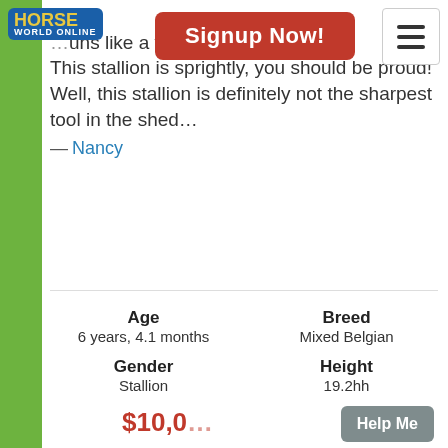Horse World Online – Signup Now!
good
...uns like a w...lion. This stallion is sprightly, you should be proud!
Well, this stallion is definitely not the sharpest tool in the shed…
— Nancy
| Age | Breed |
| --- | --- |
| 6 years, 4.1 months | Mixed Belgian |
| Gender | Height |
| Stallion | 19.2hh |
| Colour |  |
| unknown |  |
$10,0...
Help Me